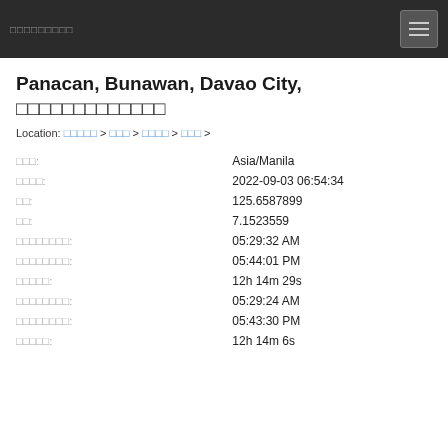日本語サイトタイトル
Panacan, Bunawan, Davao City, フィリピンダバオ市
Location: フィリピン > ダバオ > ダバオ市 > 市区 >
| Label | Value |
| --- | --- |
| タイムゾーン: | Asia/Manila |
| 現地時間: | 2022-09-03 06:54:34 |
| 経度: | 125.6587899 |
| 緯度: | 7.1523559 |
| 日の出時刻: | 05:29:32 AM |
| 日の入り時刻: | 05:44:01 PM |
| 日照時間: | 12h 14m 29s |
| 薄明かり開始: | 05:29:24 AM |
| 薄明かり終了: | 05:43:30 PM |
| 薄明時間: | 12h 14m 6s |